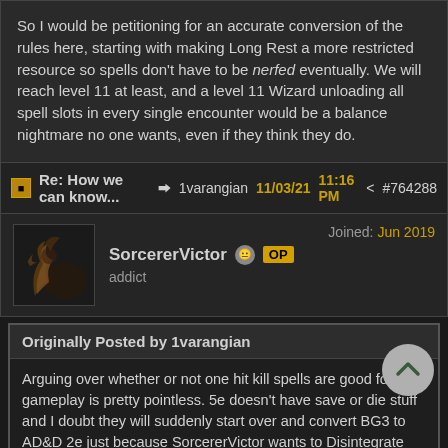So I would be petitioning for an accurate conversion of the rules here, starting with making Long Rest a more restricted resource so spells don't have to be nerfed eventually. We will reach level 11 at least, and a level 11 Wizard unloading all spell slots in every single encounter would be a balance nightmare no one wants, even if they think they do.
Re: How we can know... 1varangian 11/03/21 11:16 PM #764288
SorcererVictor OP addict Joined: Jun 2019
Originally Posted by 1varangian
Arguing over whether or not one hit kill spells are good for gameplay is pretty pointless. 5e doesn't have save or die stuff and I doubt they will suddenly start over and convert BG3 to AD&D 2e just because SorcererVictor wants to Disintegrate level 20 Barbarians left and right.

Larian are obviously not going to start buffing spells beyond what they are in 5e, especially since they already made Long Rest trivially easy to do whenever.

So I would be petitioning for an accurate conversion of the